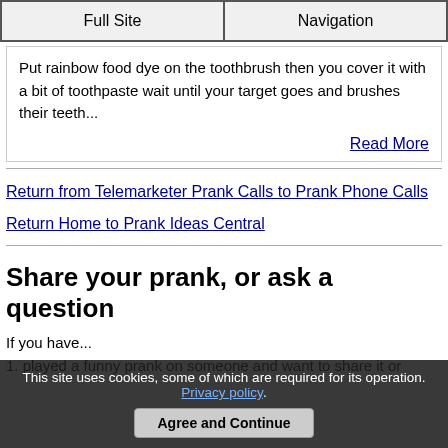Full Site | Navigation
Put rainbow food dye on the toothbrush then you cover it with a bit of toothpaste wait until your target goes and brushes their teeth...
Read More
Return from Telemarketer Prank Calls to Prank Phone Calls
Return Home to Prank Ideas Central
Share your prank, or ask a question
If you have...
1. played a funny prank on someone and want to share it or...
This site uses cookies, some of which are required for its operation. Privacy policy
Agree and Continue